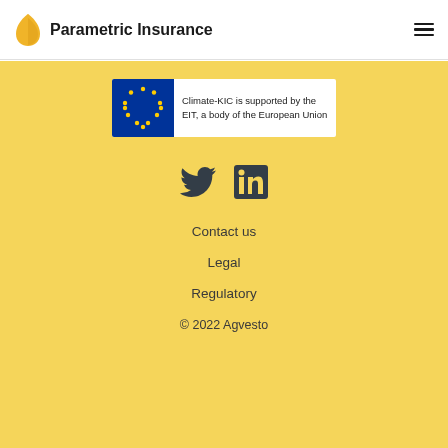Parametric Insurance
[Figure (logo): Climate-KIC is supported by the EIT, a body of the European Union — EU flag logo banner]
[Figure (infographic): Twitter and LinkedIn social media icons]
Contact us
Legal
Regulatory
© 2022 Agvesto